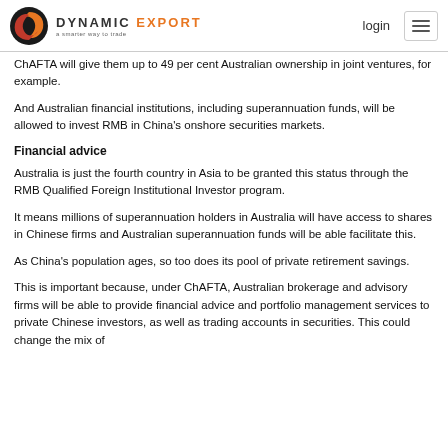DYNAMIC EXPORT — a smarter way to trade | login
ChAFTA will give them up to 49 per cent Australian ownership in joint ventures, for example.
And Australian financial institutions, including superannuation funds, will be allowed to invest RMB in China's onshore securities markets.
Financial advice
Australia is just the fourth country in Asia to be granted this status through the RMB Qualified Foreign Institutional Investor program.
It means millions of superannuation holders in Australia will have access to shares in Chinese firms and Australian superannuation funds will be able facilitate this.
As China's population ages, so too does its pool of private retirement savings.
This is important because, under ChAFTA, Australian brokerage and advisory firms will be able to provide financial advice and portfolio management services to private Chinese investors, as well as trading accounts in securities. This could change the mix of